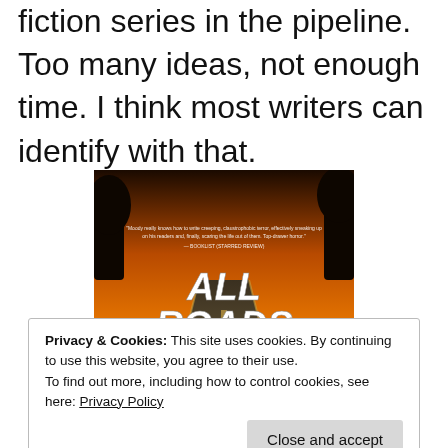fiction series in the pipeline. Too many ideas, not enough time. I think most writers can identify with that.
[Figure (photo): Book cover of 'All Roads' by David Moody with a dark road under an orange sky. A quote reads: 'Moody really knows how to write creeping, claustrophobic terror, effectively sneaking up on his readers and, finally, scaring the life out of them. Top-drawer horror.' — BOOKLIST (STARRED REVIEW)]
Privacy & Cookies: This site uses cookies. By continuing to use this website, you agree to their use.
To find out more, including how to control cookies, see here: Privacy Policy
Close and accept